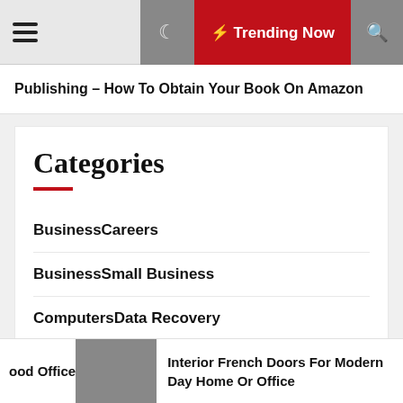☰  ☽  ⚡ Trending Now  🔍
Publishing – How To Obtain Your Book On Amazon
Categories
BusinessCareers
BusinessSmall Business
ComputersData Recovery
ComputersGames
ood Office   Interior French Doors For Modern Day Home Or Office